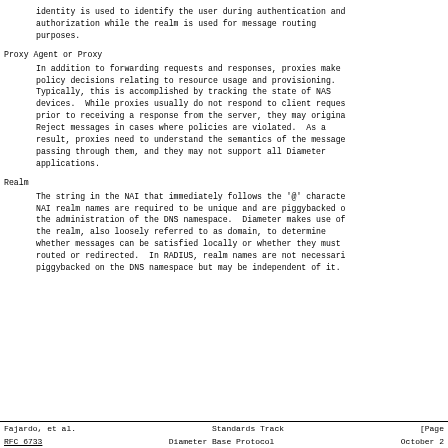identity is used to identify the user during authentication and authorization while the realm is used for message routing purposes.
Proxy Agent or Proxy
In addition to forwarding requests and responses, proxies make policy decisions relating to resource usage and provisioning. Typically, this is accomplished by tracking the state of NAS devices.  While proxies usually do not respond to client requests prior to receiving a response from the server, they may originate Reject messages in cases where policies are violated.  As a result, proxies need to understand the semantics of the messages passing through them, and they may not support all Diameter applications.
Realm
The string in the NAI that immediately follows the '@' character. NAI realm names are required to be unique and are piggybacked on the administration of the DNS namespace.  Diameter makes use of the realm, also loosely referred to as domain, to determine whether messages can be satisfied locally or whether they must be routed or redirected.  In RADIUS, realm names are not necessarily piggybacked on the DNS namespace but may be independent of it.
Fajardo, et al.                 Standards Track                    [Page
RFC 6733                    Diameter Base Protocol              October 2